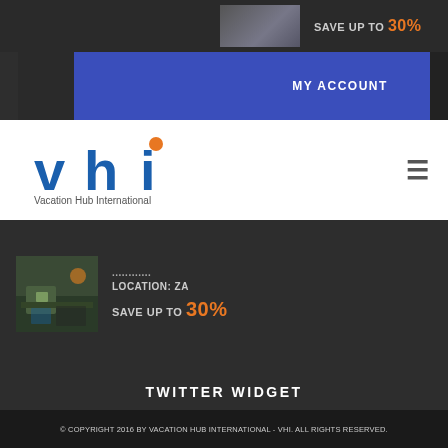[Figure (screenshot): Top dark banner with property thumbnail and save up to 30% text]
MY ACCOUNT
[Figure (logo): VHI Vacation Hub International logo with hamburger menu icon]
[Figure (photo): Property/resort pool image]
LOCATION: ZA
SAVE UP TO 30%
TWITTER WIDGET
Tweets by @Vacationhubint
© COPYRIGHT 2016 BY VACATION HUB INTERNATIONAL - VHI. ALL RIGHTS RESERVED.